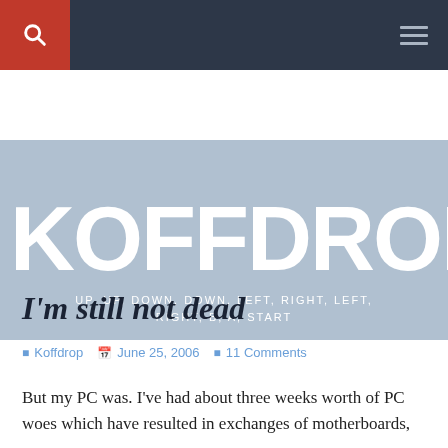KOFFDROP.C — Navigation bar with search and menu
[Figure (screenshot): Website banner with light blue-grey background showing large white bold text 'KOFFDROP.C' (truncated) and subtitle 'UP, UP, DOWN, DOWN, LEFT, RIGHT, LEFT, RIGHT, B, A, START']
I'm still not dead
Koffdrop   June 25, 2006   11 Comments
But my PC was. I've had about three weeks worth of PC woes which have resulted in exchanges of motherboards,